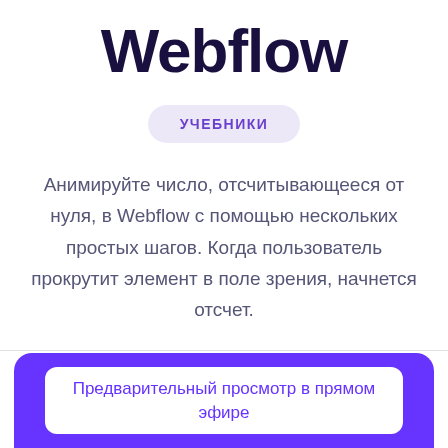Webflow
УЧЕБНИКИ
Анимируйте число, отсчитывающееся от нуля, в Webflow с помощью нескольких простых шагов. Когда пользователь прокрутит элемент в поле зрения, начнется отсчет.
[Figure (screenshot): Purple rounded card with white inner box containing text 'Предварительный просмотр в прямом эфире']